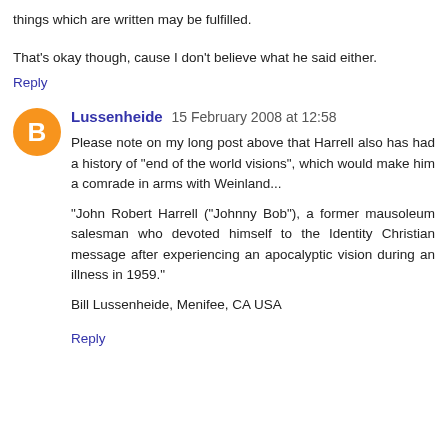things which are written may be fulfilled.
That's okay though, cause I don't believe what he said either.
Reply
Lussenheide  15 February 2008 at 12:58
Please note on my long post above that Harrell also has had a history of "end of the world visions", which would make him a comrade in arms with Weinland...
"John Robert Harrell ("Johnny Bob"), a former mausoleum salesman who devoted himself to the Identity Christian message after experiencing an apocalyptic vision during an illness in 1959."
Bill Lussenheide, Menifee, CA USA
Reply